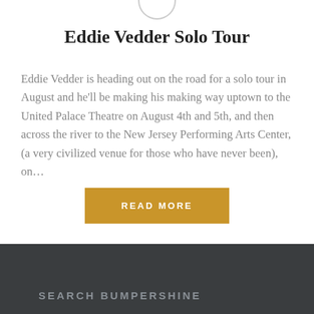Eddie Vedder Solo Tour
Eddie Vedder is heading out on the road for a solo tour in August and he'll be making his making way uptown to the United Palace Theatre on August 4th and 5th, and then across the river to the New Jersey Performing Arts Center, (a very civilized venue for those who have never been), on…
READ MORE
SEARCH BUMPERSHINE